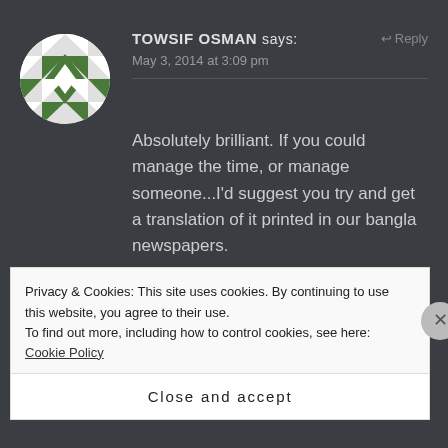[Figure (illustration): Circular avatar with geometric green and white diamond/triangle pattern on dark background]
TOWSIF OSMAN says:
↩ Reply
May 3, 2014 at 3:09 pm
Absolutely brilliant. If you could manage the time, or manage someone...I'd suggest you try and get a translation of it printed in our bangla newspapers.
Privacy & Cookies: This site uses cookies. By continuing to use this website, you agree to their use.
To find out more, including how to control cookies, see here: Cookie Policy
Close and accept